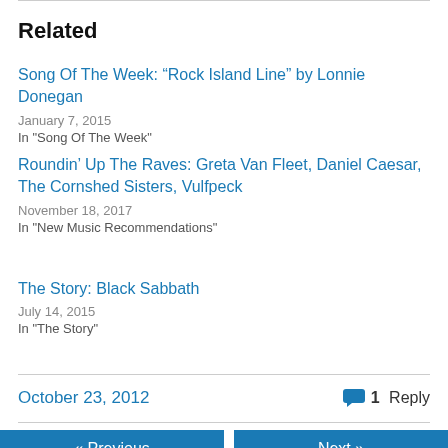Related
Song Of The Week: “Rock Island Line” by Lonnie Donegan
January 7, 2015
In "Song Of The Week"
Roundin’ Up The Raves: Greta Van Fleet, Daniel Caesar, The Cornshed Sisters, Vulfpeck
November 18, 2017
In "New Music Recommendations"
The Story: Black Sabbath
July 14, 2015
In "The Story"
October 23, 2012
1 Reply
« Previous
Next »